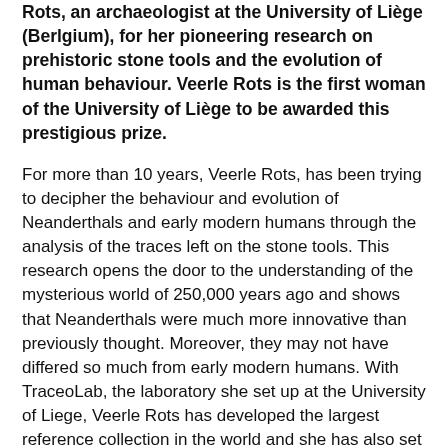Rots, an archaeologist at the University of Liège (Berlgium), for her pioneering research on prehistoric stone tools and the evolution of human behaviour. Veerle Rots is the first woman of the University of Liège to be awarded this prestigious prize.
For more than 10 years, Veerle Rots, has been trying to decipher the behaviour and evolution of Neanderthals and early modern humans through the analysis of the traces left on the stone tools. This research opens the door to the understanding of the mysterious world of 250,000 years ago and shows that Neanderthals were much more innovative than previously thought. Moreover, they may not have differed so much from early modern humans. With TraceoLab, the laboratory she set up at the University of Liege, Veerle Rots has developed the largest reference collection in the world and she has also set up a robust analytical framework. This detailed